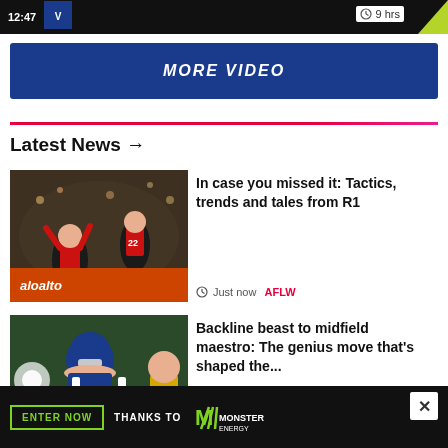[Figure (screenshot): Top navigation bar with 12:47 timestamp, team logo, and '9 hrs' label on white background]
MORE VIDEO
Latest News →
[Figure (photo): Essendon AFLW players celebrating on field with paloalto networks advertising board behind them]
In case you missed it: Tactics, trends and tales from R1
Just now  AFLW
[Figure (photo): AFL player in blue helmet and jersey on field]
Backline beast to midfield maestro: The genius move that's shaped the...
[Figure (screenshot): Advertisement banner: ENTER NOW THANKS TO Monster Energy]